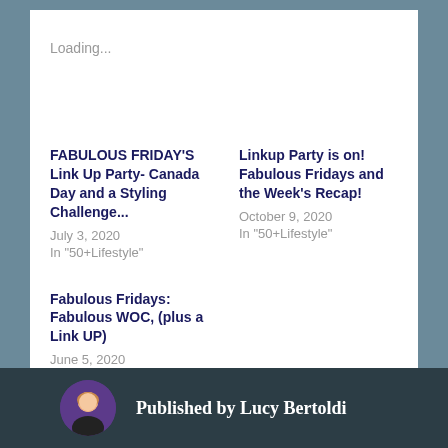Loading...
FABULOUS FRIDAY'S Link Up Party- Canada Day and a Styling Challenge...
July 3, 2020
In "50+Lifestyle"
Linkup Party is on! Fabulous Fridays and the Week's Recap!
October 9, 2020
In "50+Lifestyle"
Fabulous Fridays: Fabulous WOC, (plus a Link UP)
June 5, 2020
In "Beauty"
Published by Lucy Bertoldi